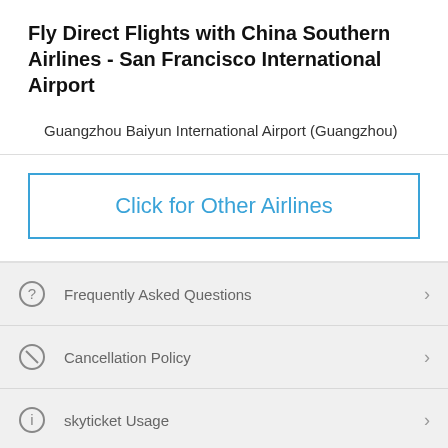Fly Direct Flights with China Southern Airlines - San Francisco International Airport
Guangzhou Baiyun International Airport (Guangzhou)
Click for Other Airlines
Frequently Asked Questions
Cancellation Policy
skyticket Usage
My Reservation(s)
Log-In